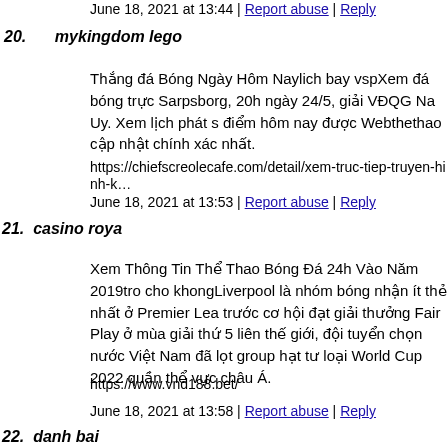June 18, 2021 at 13:44 | Report abuse | Reply
20. mykingdom lego
Thắng đá Bóng Ngày Hôm Naylich bay vspXem đá bóng trực Sarpsborg, 20h ngày 24/5, giải VĐQG Na Uy. Xem lịch phát sóng điểm hôm nay được Webthethao cập nhật chính xác nhất.
https://chiefscreolecafe.com/detail/xem-truc-tiep-truyen-hinh-k…
June 18, 2021 at 13:53 | Report abuse | Reply
21. casino roya
Xem Thông Tin Thể Thao Bóng Đá 24h Vào Năm 2019tro cho khongLiverpool là nhóm bóng nhận ít thẻ nhất ở Premier League trước cơ hội đạt giải thưởng Fair Play ở mùa giải thứ 5 liên thế giới, đội tuyển chọn nước Việt Nam đã lọt group hạt tư loại World Cup 2022 quần thể vực châu Á.
https://www.vnd188.bet/
June 18, 2021 at 13:58 | Report abuse | Reply
22. danh bai
Coi Thắng Viettel Vs Tỉnh Bình Dương Trên V League 2021 đội tuyển chọn futsal nước Việt Nam đã được một trận đấu đồng…